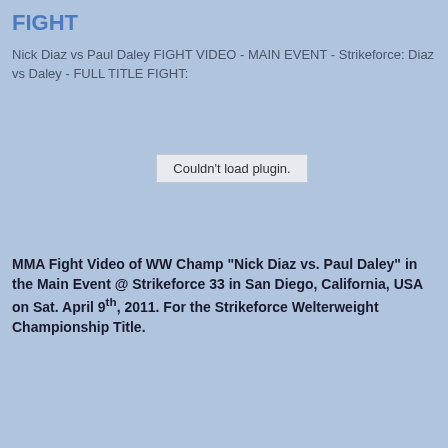FIGHT
Nick Diaz vs Paul Daley FIGHT VIDEO - MAIN EVENT - Strikeforce: Diaz vs Daley - FULL TITLE FIGHT:
[Figure (screenshot): Embedded video plugin area showing 'Couldn't load plugin.' error message]
MMA Fight Video of WW Champ "Nick Diaz vs. Paul Daley" in the Main Event @ Strikeforce 33 in San Diego, California, USA on Sat. April 9th, 2011. For the Strikeforce Welterweight Championship Title.